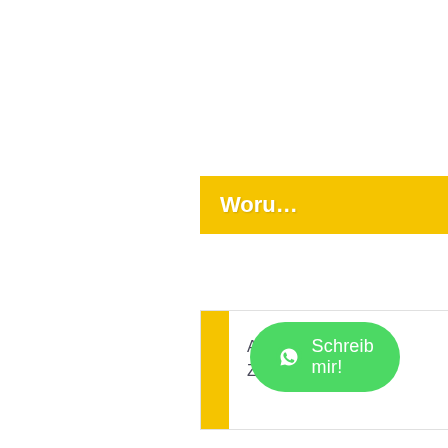Woru…
Auflösen Deiner Zweifel
[Figure (other): WhatsApp button with icon and text 'Schreib mir!']